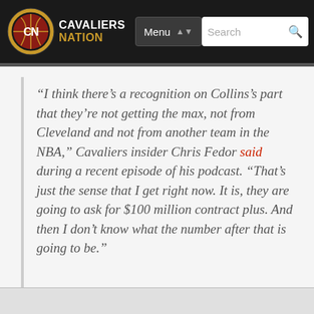Cavaliers Nation | Menu | Search
“I think there’s a recognition on Collins’s part that they’re not getting the max, not from Cleveland and not from another team in the NBA,” Cavaliers insider Chris Fedor said during a recent episode of his podcast. “That’s just the sense that I get right now. It is, they are going to ask for $100 million contract plus. And then I don’t know what the number after that is going to be.”